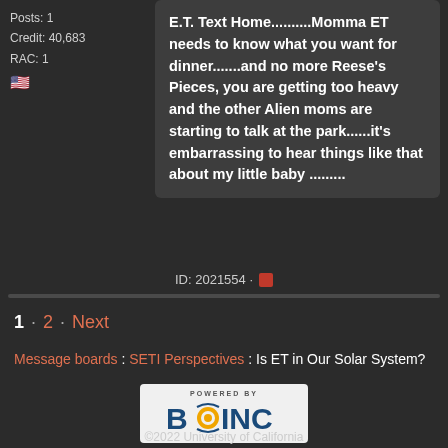Posts: 1
Credit: 40,683
RAC: 1
E.T. Text Home..........Momma ET needs to know what you want for dinner.......and no more Reese's Pieces, you are getting too heavy and the other Alien moms are starting to talk at the park......it's embarrassing to hear things like that about my little baby .........
ID: 2021554 ·
1 · 2 · Next
Message boards : SETI Perspectives : Is ET in Our Solar System?
[Figure (logo): Powered by BOINC logo — white/light background with BOINC text and circular yellow/orange icon]
©2022 University of California